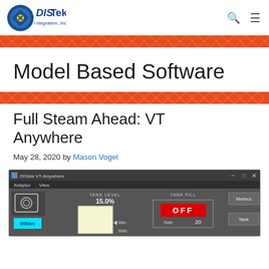[Figure (logo): DIStek Integration, Inc. logo with blue diamond/circle icon and blue text]
Model Based Software
Full Steam Ahead: VT Anywhere
May 28, 2020 by Mason Vogel
[Figure (screenshot): DIStek VT-Anywhere software screenshot showing tank level at 15.0%, tank fill OFF, with Metrics and Tank buttons on right side]